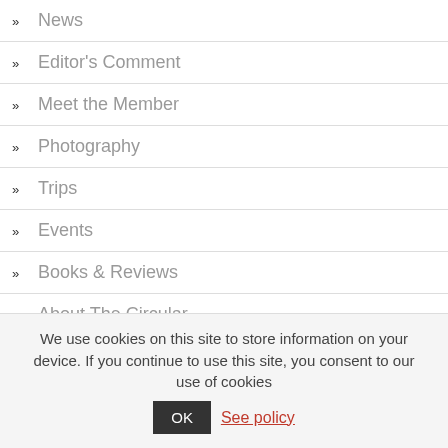» News
» Editor's Comment
» Meet the Member
» Photography
» Trips
» Events
» Books & Reviews
» About The Circular
» Past Editions
We use cookies on this site to store information on your device. If you continue to use this site, you consent to our use of cookies  OK  See policy